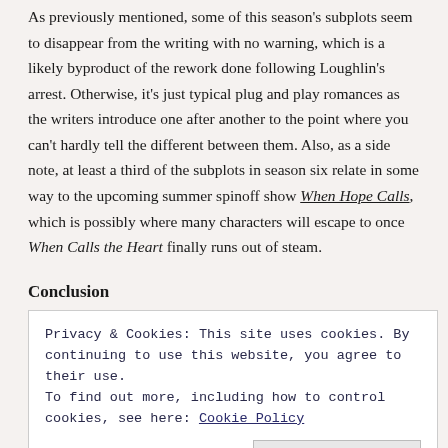As previously mentioned, some of this season's subplots seem to disappear from the writing with no warning, which is a likely byproduct of the rework done following Loughlin's arrest. Otherwise, it's just typical plug and play romances as the writers introduce one after another to the point where you can't hardly tell the different between them. Also, as a side note, at least a third of the subplots in season six relate in some way to the upcoming summer spinoff show When Hope Calls, which is possibly where many characters will escape to once When Calls the Heart finally runs out of steam.
Conclusion
Oh yeah, so there's a seventh season coming up. MLJ has at least two
Privacy & Cookies: This site uses cookies. By continuing to use this website, you agree to their use.
To find out more, including how to control cookies, see here: Cookie Policy
Close and accept
anybody the least bit annoyed with how they treat Elizabeth?